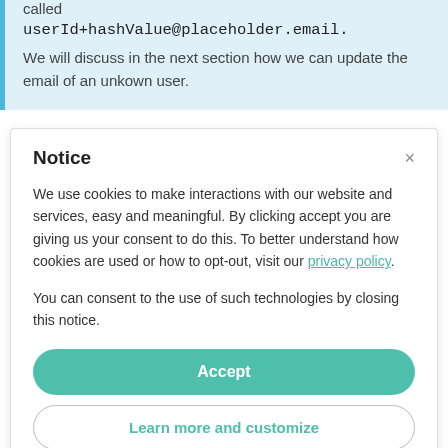called
userId+hashValue@placeholder.email.
We will discuss in the next section how we can update the email of an unkown user.
Notice
We use cookies to make interactions with our website and services, easy and meaningful. By clicking accept you are giving us your consent to do this. To better understand how cookies are used or how to opt-out, visit our privacy policy.
You can consent to the use of such technologies by closing this notice.
Accept
Learn more and customize